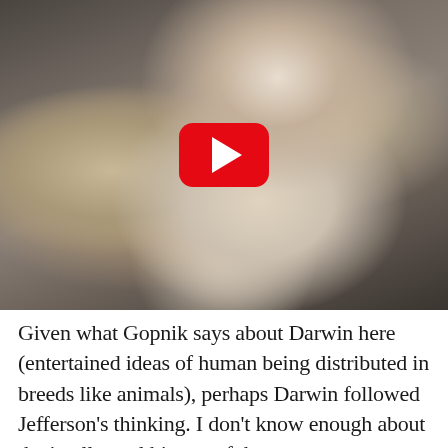[Figure (screenshot): A YouTube video thumbnail showing a man in a dark suit jacket and white shirt gesturing with one hand raised, pointing with his index finger. A YouTube play button (red rounded rectangle with white triangle) is overlaid in the center of the image.]
Given what Gopnik says about Darwin here (entertained ideas of human being distributed in breeds like animals), perhaps Darwin followed Jefferson's thinking. I don't know enough about the intellectual history of that concept to say; Gopnik may be being too charitable. If need be, I can look into that for a future post. However, I hope I have